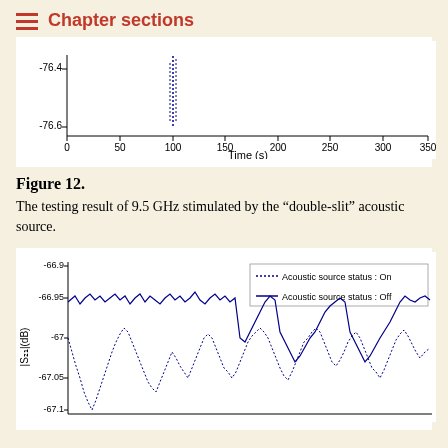Chapter sections
[Figure (continuous-plot): Time series plot showing S21 magnitude around -76.4 dB with a vertical cluster of dotted points near t=100s. X-axis: Time (s) from 0 to 350. Y-axis: from -76.6 to -76.4.]
Figure 12.
The testing result of 9.5 GHz stimulated by the “double-slit” acoustic source.
[Figure (continuous-plot): Time series plot of |S21|(dB) for 9.5 GHz showing two traces: dotted line (Acoustic source status: On) and solid line (Acoustic source status: Off). Y-axis ranges from about -67.1 to -66.9 dB. The dotted trace dips lower periodically.]